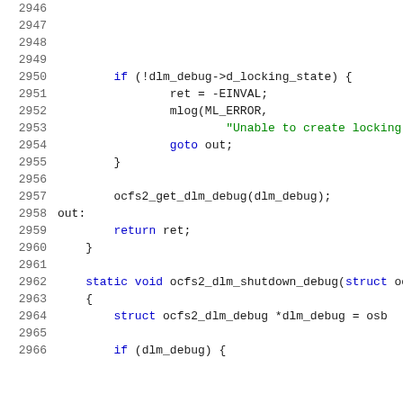Source code listing lines 2946-2966 of a C file showing ocfs2 dlm debug functions
2946 (empty)
2947 (empty)
2948 (empty)
2949 (empty)
2950         if (!dlm_debug->d_locking_state) {
2951                 ret = -EINVAL;
2952                 mlog(ML_ERROR,
2953                         "Unable to create locking
2954                 goto out;
2955         }
2956 (empty)
2957         ocfs2_get_dlm_debug(dlm_debug);
2958 out:
2959         return ret;
2960     }
2961 (empty)
2962     static void ocfs2_dlm_shutdown_debug(struct ocf
2963     {
2964         struct ocfs2_dlm_debug *dlm_debug = osb
2965 (empty)
2966         if (dlm_debug) {